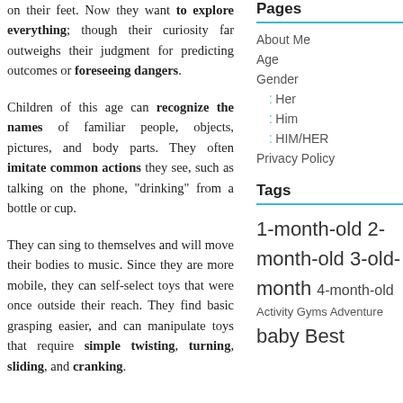on their feet. Now they want to explore everything; though their curiosity far outweighs their judgment for predicting outcomes or foreseeing dangers.
Children of this age can recognize the names of familiar people, objects, pictures, and body parts. They often imitate common actions they see, such as talking on the phone, "drinking" from a bottle or cup.
They can sing to themselves and will move their bodies to music. Since they are more mobile, they can self-select toys that were once outside their reach. They find basic grasping easier, and can manipulate toys that require simple twisting, turning, sliding, and cranking.
Pages
About Me
Age
Gender
Her
Him
HIM/HER
Privacy Policy
Tags
1-month-old 2-month-old 3-old-month 4-month-old Activity Gyms Adventure baby Best